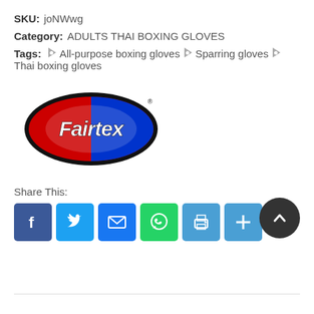SKU: joNWwg
Category: ADULTS THAI BOXING GLOVES
Tags: All-purpose boxing gloves  Sparring gloves  Thai boxing gloves
[Figure (logo): Fairtex brand logo — oval shape with red and blue fill, black outline, white scripted 'Fairtex' text]
Share This:
[Figure (infographic): Row of social share buttons: Facebook, Twitter, Email, WhatsApp, Print, More; and a circular scroll-to-top arrow button]